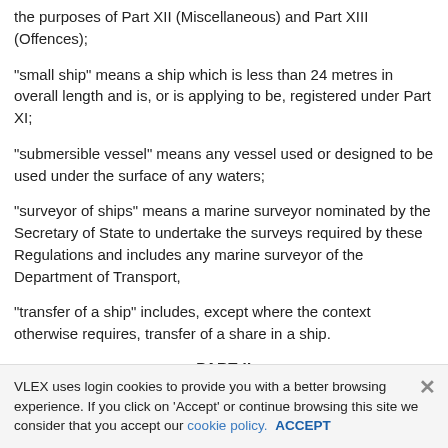the purposes of Part XII (Miscellaneous) and Part XIII (Offences);
"small ship" means a ship which is less than 24 metres in overall length and is, or is applying to be, registered under Part XI;
"submersible vessel" means any vessel used or designed to be used under the surface of any waters;
"surveyor of ships" means a marine surveyor nominated by the Secretary of State to undertake the surveys required by these Regulations and includes any marine surveyor of the Department of Transport,
"transfer of a ship" includes, except where the context otherwise requires, transfer of a share in a ship.
PART II
VLEX uses login cookies to provide you with a better browsing experience. If you click on 'Accept' or continue browsing this site we consider that you accept our cookie policy. ACCEPT